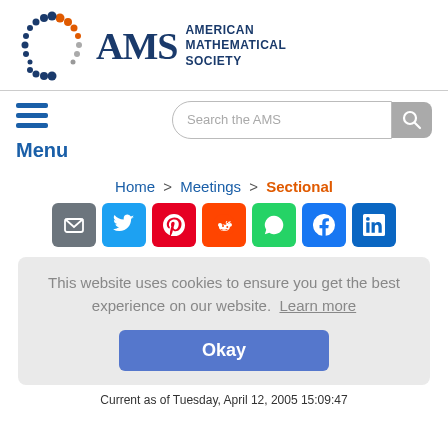[Figure (logo): American Mathematical Society logo with colorful dots arc and AMS text]
[Figure (screenshot): Hamburger menu icon (three horizontal blue lines) with Menu label]
[Figure (screenshot): Search the AMS search box with magnifying glass button]
Home > Meetings > Sectional
[Figure (infographic): Social sharing buttons: email, Twitter, Pinterest, Reddit, WhatsApp, Facebook, LinkedIn]
This website uses cookies to ensure you get the best experience on our website. Learn more
Okay
Current as of Tuesday, April 12, 2005 15:09:47